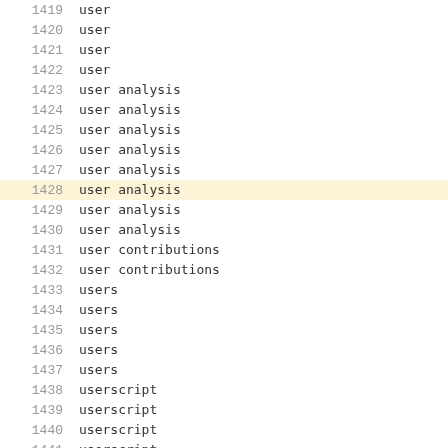| # | value |
| --- | --- |
| 1419 | user |
| 1420 | user |
| 1421 | user |
| 1422 | user |
| 1423 | user analysis |
| 1424 | user analysis |
| 1425 | user analysis |
| 1426 | user analysis |
| 1427 | user analysis |
| 1428 | user analysis |
| 1429 | user analysis |
| 1430 | user analysis |
| 1431 | user contributions |
| 1432 | user contributions |
| 1433 | users |
| 1434 | users |
| 1435 | users |
| 1436 | users |
| 1437 | users |
| 1438 | userscript |
| 1439 | userscript |
| 1440 | userscript |
| 1441 | userscript |
| 1442 | userscript |
| 1443 | userviews |
| 1444 | undo |